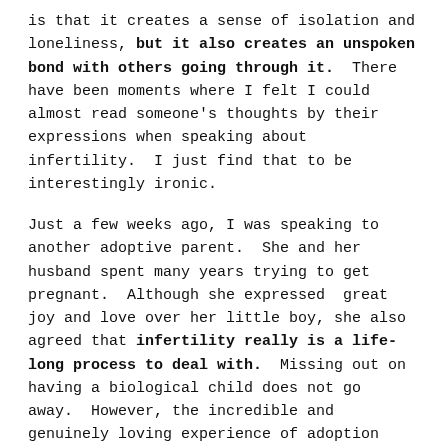is that it creates a sense of isolation and loneliness, but it also creates an unspoken bond with others going through it. There have been moments where I felt I could almost read someone's thoughts by their expressions when speaking about infertility. I just find that to be interestingly ironic.
Just a few weeks ago, I was speaking to another adoptive parent. She and her husband spent many years trying to get pregnant. Although she expressed great joy and love over her little boy, she also agreed that infertility really is a life-long process to deal with. Missing out on having a biological child does not go away. However, the incredible and genuinely loving experience of adoption does not go away either.